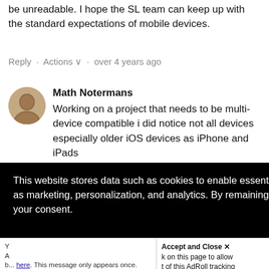be unreadable. I hope the SL team can keep up with the standard expectations of mobile devices.
Reply · Actions ∨ · over 4 years ago
Math Notermans
Working on a project that needs to be multi-device compatible i did notice not all devices especially older iOS devices as iPhone and iPads [below iOS ...nicely on an ...get ...do have it ...the course ...ad.]
This website stores data such as cookies to enable essential site functionality, as well as marketing, personalization, and analytics. By remaining on this website you indicate your consent.
Privacy Notice
Accept and Close ✕
k on this page to allow t of this AdRoll tracking